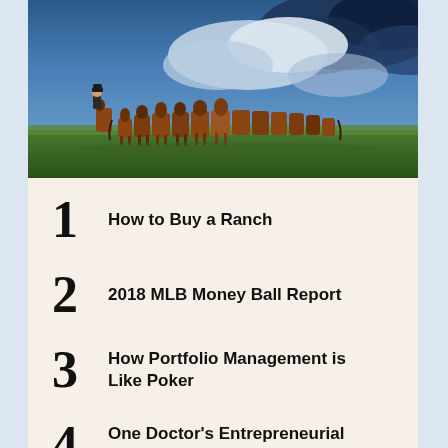[Figure (photo): A cowboy on horseback herding a group of horses across an open field under a dramatic cloudy blue sky.]
1 How to Buy a Ranch
2 2018 MLB Money Ball Report
3 How Portfolio Management is Like Poker
4 One Doctor's Entrepreneurial Quest to Reinvent Medicine